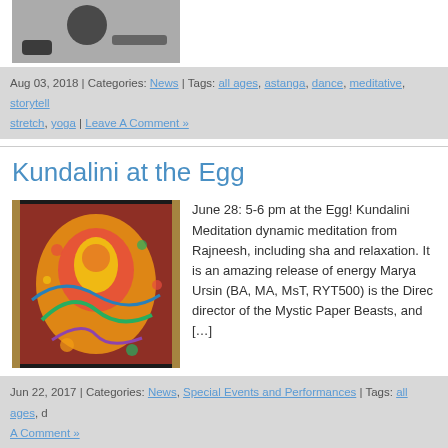[Figure (photo): Black and white photo of a person in a yoga or dance pose on the floor]
Aug 03, 2018 | Categories: News | Tags: all ages, astanga, dance, meditative, storytell stretch, yoga | Leave A Comment »
Kundalini at the Egg
[Figure (photo): Colorful mandala or thangka artwork with red, yellow, and green patterns on dark background]
June 28: 5-6 pm at the Egg! Kundalini Meditation dynamic meditation from Rajneesh, including sha and relaxation. It is an amazing release of energy Marya Ursin (BA, MA, MsT, RYT500) is the Direc director of the Mystic Paper Beasts, and [...]
Jun 22, 2017 | Categories: News, Special Events and Performances | Tags: all ages, d Leave A Comment »